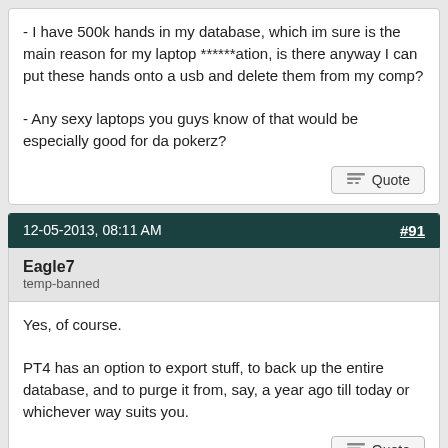- I have 500k hands in my database, which im sure is the main reason for my laptop ******ation, is there anyway I can put these hands onto a usb and delete them from my comp?

- Any sexy laptops you guys know of that would be especially good for da pokerz?
Quote
12-05-2013, 08:11 AM
#91
Eagle7
temp-banned
Yes, of course.

PT4 has an option to export stuff, to back up the entire database, and to purge it from, say, a year ago till today or whichever way suits you.
Quote